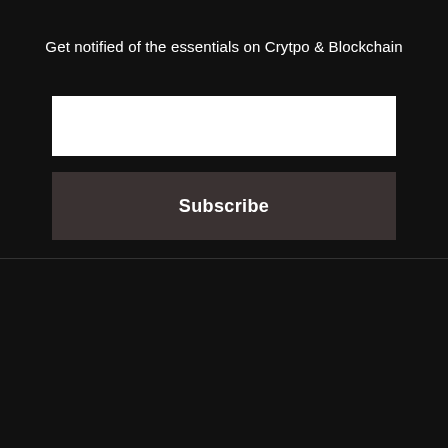Get notified of the essentials on Crytpo & Blockchain
[Figure (screenshot): White email input field for newsletter subscription]
Subscribe
[Figure (logo): The Dechained logo — white text on dark background with border rectangle]
[Figure (infographic): Four social media icons in circles: Twitter, Telegram, LinkedIn, Facebook]
News  Business  People  Reviews  Learn